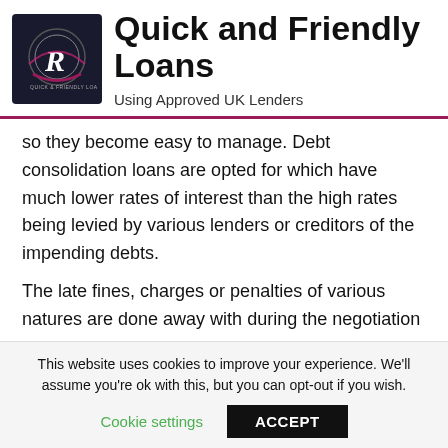[Figure (logo): Quick and Friendly Loans circular logo on dark background with stylized R and ribbon]
Quick and Friendly Loans
Using Approved UK Lenders
so they become easy to manage. Debt consolidation loans are opted for which have much lower rates of interest than the high rates being levied by various lenders or creditors of the impending debts.
The late fines, charges or penalties of various natures are done away with during the negotiation
This website uses cookies to improve your experience. We'll assume you're ok with this, but you can opt-out if you wish.